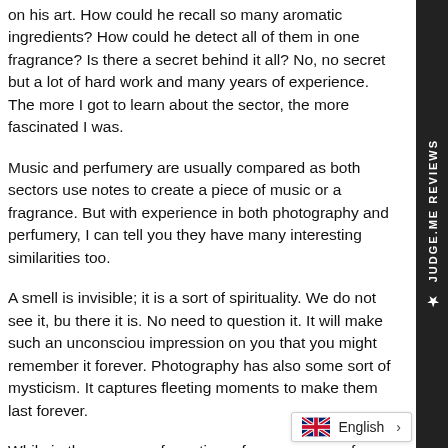on his art. How could he recall so many aromatic ingredients? How could he detect all of them in one fragrance? Is there a secret behind it all? No, no secret but a lot of hard work and many years of experience. The more I got to learn about the sector, the more fascinated I was.
Music and perfumery are usually compared as both sectors use notes to create a piece of music or a fragrance. But with experience in both photography and perfumery, I can tell you they have many interesting similarities too.
A smell is invisible; it is a sort of spirituality. We do not see it, but there it is. No need to question it. It will make such an unconscious impression on you that you might remember it forever. Photography has also some sort of mysticism. It captures fleeting moments to make them last forever.
While in the process of creating a fragrance, a perfumer plays on the different ingredients in the formula to get the perfect balance to suit the story he wishes to tell, highlighting some notes while leaving others in the dark, just like a photographer does
[Figure (other): JUDGE.ME REVIEWS vertical sidebar label in white text on dark background with star icon]
[Figure (other): Language selector widget showing UK flag and English label with arrow]